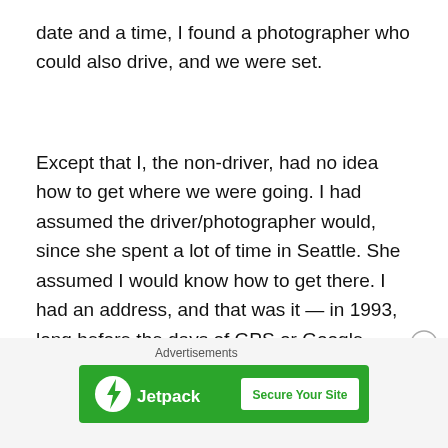date and a time, I found a photographer who could also drive, and we were set.
Except that I, the non-driver, had no idea how to get where we were going. I had assumed the driver/photographer would, since she spent a lot of time in Seattle. She assumed I would know how to get there. I had an address, and that was it — in 1993, long before the days of GPS or Google Maps or high schoolers having cell phones or things like this.
After about an hour and a half of driving around downtown Seattle, it became clear we weren't going to find the place. When I got home, I tried calling Harris. I explained to his
Advertisements
[Figure (other): Jetpack advertisement banner with green background, Jetpack logo with lightning bolt icon on the left, and 'Secure Your Site' call-to-action button on the right]